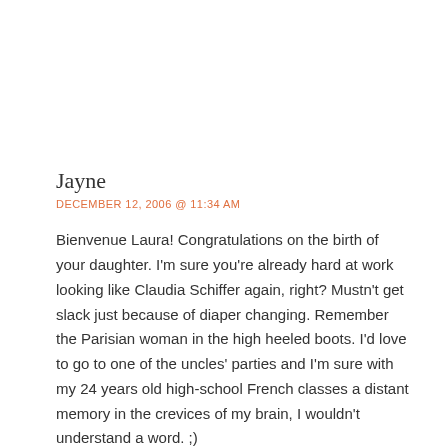Jayne
DECEMBER 12, 2006 @ 11:34 AM
Bienvenue Laura! Congratulations on the birth of your daughter. I'm sure you're already hard at work looking like Claudia Schiffer again, right? Mustn't get slack just because of diaper changing. Remember the Parisian woman in the high heeled boots. I'd love to go to one of the uncles' parties and I'm sure with my 24 years old high-school French classes a distant memory in the crevices of my brain, I wouldn't understand a word. ;)